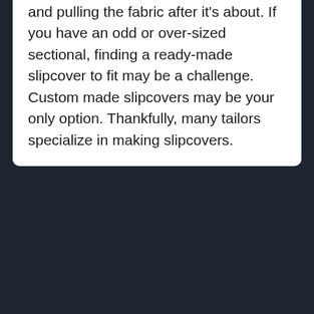and pulling the fabric after it's about. If you have an odd or over-sized sectional, finding a ready-made slipcover to fit may be a challenge. Custom made slipcovers may be your only option. Thankfully, many tailors specialize in making slipcovers.
How much fabric do I need to cover a sectional couch?
approximately 12 yards of fabric as a base estimate for a 6-foot-long, 2-cushion sofa. Increase that to 14 yards for a 7-foot sofa. Estimate an additional 1.5 yards of fabric per cushion for a sofa with more than two cushions… so a 7-foot-long, 6-cushion